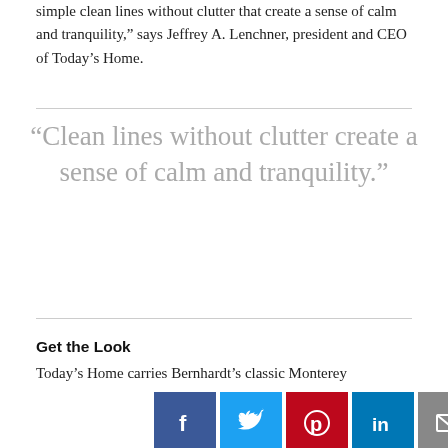simple clean lines without clutter that create a sense of calm and tranquility," says Jeffrey A. Lenchner, president and CEO of Today's Home.
“Clean lines without clutter create a sense of calm and tranquility.”
Get the Look
Today’s Home carries Bernhardt’s classic Monterey
[Figure (infographic): Social media sharing buttons: Facebook (dark blue), Twitter (light blue), Pinterest (red), LinkedIn (teal/blue), Email (gray), Reddit (orange)]